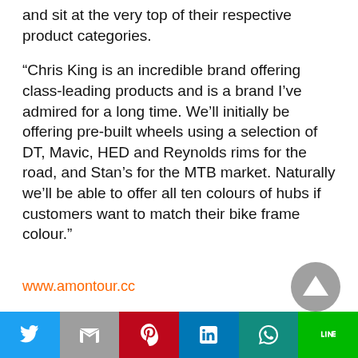and sit at the very top of their respective product categories.
“Chris King is an incredible brand offering class-leading products and is a brand I’ve admired for a long time. We’ll initially be offering pre-built wheels using a selection of DT, Mavic, HED and Reynolds rims for the road, and Stan’s for the MTB market. Naturally we’ll be able to offer all ten colours of hubs if customers want to match their bike frame colour.”
www.amontour.cc
[Figure (other): Scroll to top button - dark grey circle with upward pointing triangle]
Twitter | Gmail | Pinterest | LinkedIn | WhatsApp | Line